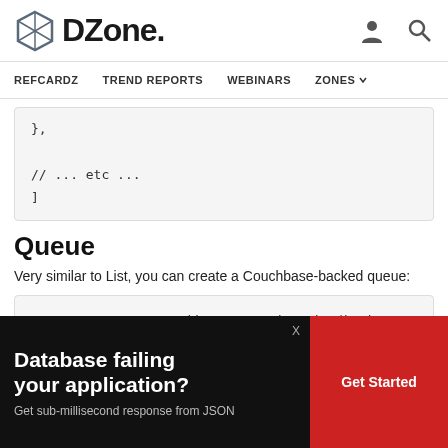DZone. REFCARDZ TREND REPORTS WEBINARS ZONES
},

    // ... etc ...
]
Queue
Very similar to List, you can create a Couchbase-backed queue:
var queue = new CouchbaseQueue<dynamic>(bucket, "myQueue");
A ... sig ... qu...
for(var i = 0; i < 3; i++)
    queue.Enqueue(new { num = i, foo = "baz" +
[Figure (other): Advertisement overlay: 'Database failing your application? Get sub-millisecond response from JSON' with a red 'Get Started' button]